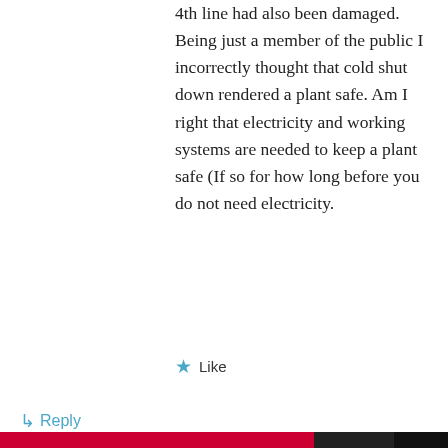4th line had also been damaged. Being just a member of the public I incorrectly thought that cold shut down rendered a plant safe. Am I right that electricity and working systems are needed to keep a plant safe (If so for how long before you do not need electricity.
★ Like
↳ Reply
Hank Roberts on 8 April 2011 at 11:20 PM
Privacy & Cookies: This site uses cookies. By continuing to use this website, you agree to their use.
To find out more, including how to control cookies, see here: Cookie Policy
Close and accept